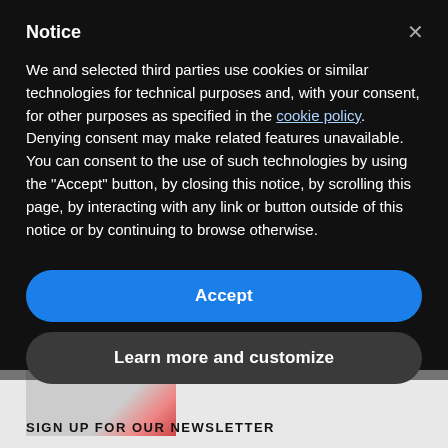Notice
We and selected third parties use cookies or similar technologies for technical purposes and, with your consent, for other purposes as specified in the cookie policy. Denying consent may make related features unavailable. You can consent to the use of such technologies by using the "Accept" button, by closing this notice, by scrolling this page, by interacting with any link or button outside of this notice or by continuing to browse otherwise.
Accept
Learn more and customize
SIGN UP FOR OUR NEWSLETTER